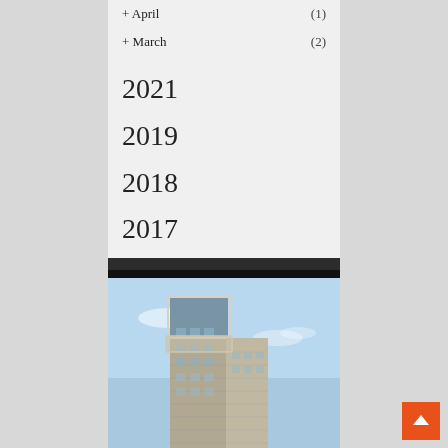+ April (1)
+ March (2)
2021
2019
2018
2017
[Figure (photo): Modern high-rise apartment building against a blue sky, multi-story concrete and glass tower with distinctive architectural framing elements]